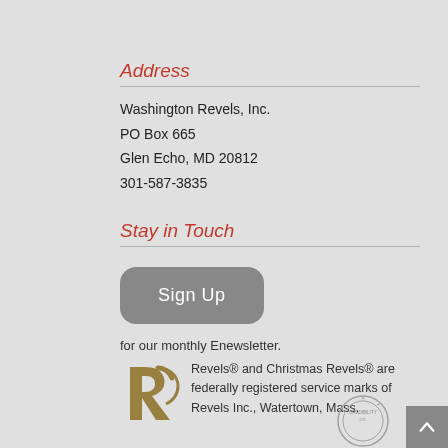Address
Washington Revels, Inc.
PO Box 665
Glen Echo, MD 20812
301-587-3835
Stay in Touch
[Figure (other): Gray rounded rectangle button labeled 'Sign Up']
for our monthly Enewsletter.
[Figure (logo): Washington Revels stylized 'R' logo in gold/olive color]
Revels® and Christmas Revels® are federally registered service marks of Revels Inc., Watertown, Mass.
[Figure (logo): Credibility badge/seal circular emblem]
[Figure (other): Back to top button — dark gray square with upward chevron arrow]